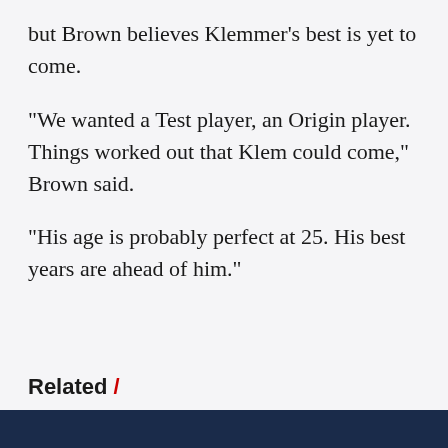but Brown believes Klemmer's best is yet to come.
"We wanted a Test player, an Origin player. Things worked out that Klem could come," Brown said.
"His age is probably perfect at 25. His best years are ahead of him."
Related /